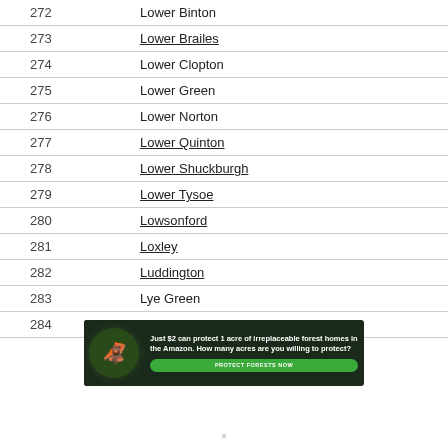| # | Name |
| --- | --- |
| 272 | Lower Binton |
| 273 | Lower Brailes |
| 274 | Lower Clopton |
| 275 | Lower Green |
| 276 | Lower Norton |
| 277 | Lower Quinton |
| 278 | Lower Shuckburgh |
| 279 | Lower Tysoe |
| 280 | Lowsonford |
| 281 | Loxley |
| 282 | Luddington |
| 283 | Lye Green |
| 284 | Mancetter |
[Figure (infographic): Advertisement banner: Just $2 can protect 1 acre of irreplaceable forest homes in the Amazon. How many acres are you willing to protect? PROTECT FORESTS NOW button. Shows forest background with animal image.]
×